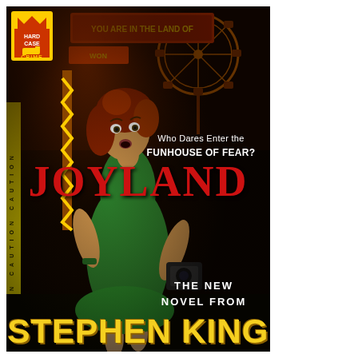[Figure (illustration): Book cover for 'Joyland' by Stephen King, published by Hard Case Crime. Features a pulp-style illustration of a redheaded woman in a green dress holding a camera, set against a dark carnival/amusement park background with a Ferris wheel and bright neon lights. Hard Case Crime badge logo in top left corner.]
Who Dares Enter the FUNHOUSE OF FEAR?
JOYLAND
THE NEW NOVEL FROM
STEPHEN KING